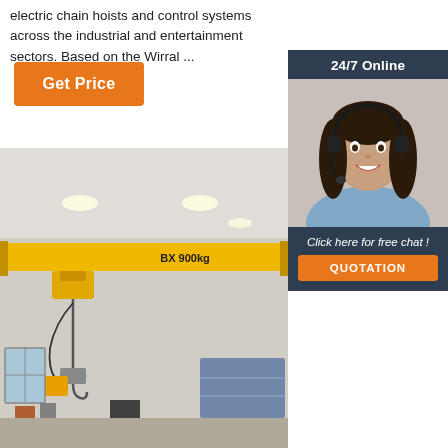electric chain hoists and control systems across the industrial and entertainment sectors. Based on the Wirral ...
Get Price
24/7 Online
[Figure (photo): Woman with headset smiling, customer service representative]
Click here for free chat !
QUOTATION
[Figure (photo): Industrial warehouse interior showing a yellow overhead bridge crane with BX 900kg label, suspended chain hoist, ceiling lights, windows, and storage shelving]